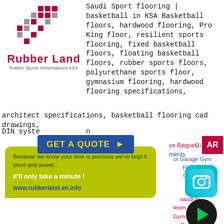[Figure (logo): Rubber Land logo with checkered red/gray squares pattern and text 'Rubber Land' in red, subtitle 'Rubber Sports Infourmations KSA']
Saudi Sport flooring | basketball in KSA Basketball floors, hardwood flooring, Pro King floor, resilient sports flooring, fixed basketball floors, floating basketball floors, rubber sports floors, polyurethane sports floor, gymnasium flooring, hardwood flooring specifications, architect specifications, basketball flooring cad drawings, DIN system n
[Figure (infographic): Blue button 'GET A QUOTE >' with yellow-green speech bubble: 'Because we know your time is precious we've kept it short and sweet .. it'll only take a minute !' and URL www.rubberland.en.info]
ce Request
ments
Contact
[Figure (other): AR badge in red]
ur Garage Gym Flooring Options
saudi tu team Garage Gym Flooring Options
you're setting up a garage gym, or you're already set up with a gym,
[Figure (photo): Instagram icon - teal/cyan camera icon with rounded square]
[Figure (other): Dark circular play button with green triangle]